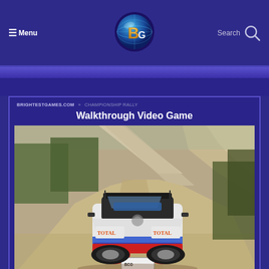≡ Menu | BrightestGames.com logo | Search
BRIGHTESTGAMES.COM » CHAMPIONSHIP RALLY
Walkthrough Video Game
[Figure (screenshot): Rally racing video game screenshot showing a red and white Citroen rally car with Total and Red Bull sponsorships driving on a dusty dirt road through rocky terrain with trees and cliffs in the background.]